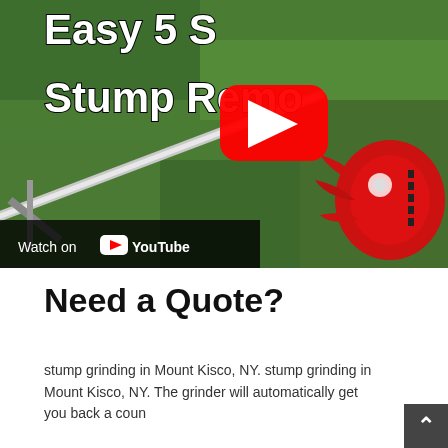[Figure (screenshot): YouTube video thumbnail showing a stump removal tool on grass. Title text reads 'Easy 5 S... Stump Remo...' partially visible. Red YouTube play button in center. 'Watch on YouTube' bar at bottom left. Red mechanical stump grinding tool visible on right side.]
Need a Quote?
stump grinding in Mount Kisco, NY. stump grinding in Mount Kisco, NY. The grinder will automatically get you back a coun...